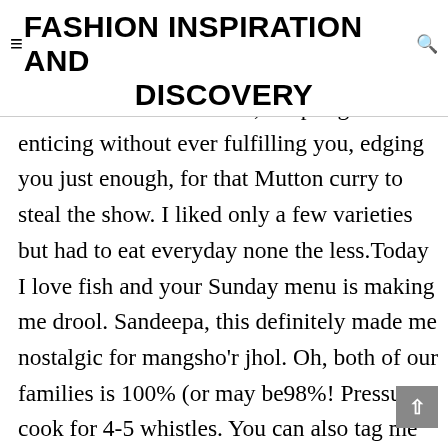≡ FASHION INSPIRATION AND DISCOVERY
chorchori were the teaser, tempting and enticing without ever fulfilling you, edging you just enough, for that Mutton curry to steal the show. I liked only a few varieties but had to eat everyday none the less.Today I love fish and your Sunday menu is making me drool. Sandeepa, this definitely made me nostalgic for mangsho'r jhol. Oh, both of our families is 100% (or may be98%! Pressure cook for 4-5 whistles. You can also tag me on Instagram using the handle @when_a_bong_cooks. Just don't eat it that much anymore. Toggle Navigation. Cholay